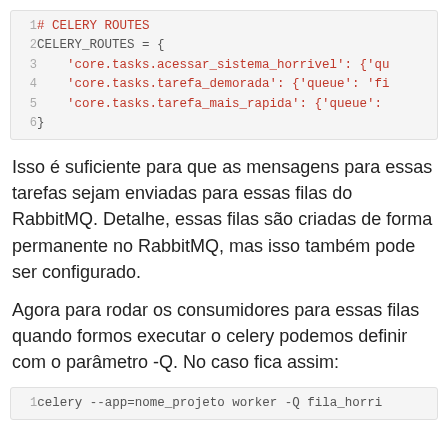[Figure (screenshot): Code block showing CELERY_ROUTES configuration in Python with line numbers 1-6]
Isso é suficiente para que as mensagens para essas tarefas sejam enviadas para essas filas do RabbitMQ. Detalhe, essas filas são criadas de forma permanente no RabbitMQ, mas isso também pode ser configurado.
Agora para rodar os consumidores para essas filas quando formos executar o celery podemos definir com o parâmetro -Q. No caso fica assim:
[Figure (screenshot): Code block showing celery command: celery --app=nome_projeto worker -Q fila_horri...]